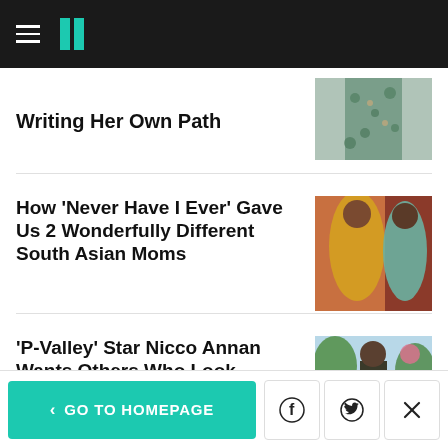HuffPost
Writing Her Own Path
[Figure (photo): Photo of woman in floral dress]
How ‘Never Have I Ever’ Gave Us 2 Wonderfully Different South Asian Moms
[Figure (photo): Two South Asian women in traditional clothing]
‘P-Valley’ Star Nicco Annan Wants Others Who Look
[Figure (photo): Man standing outdoors]
< GO TO HOMEPAGE